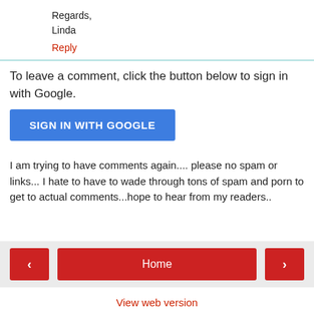Regards,
Linda
Reply
To leave a comment, click the button below to sign in with Google.
[Figure (other): Blue 'SIGN IN WITH GOOGLE' button]
I am trying to have comments again.... please no spam or links... I hate to have to wade through tons of spam and porn to get to actual comments...hope to hear from my readers..
< Home > View web version